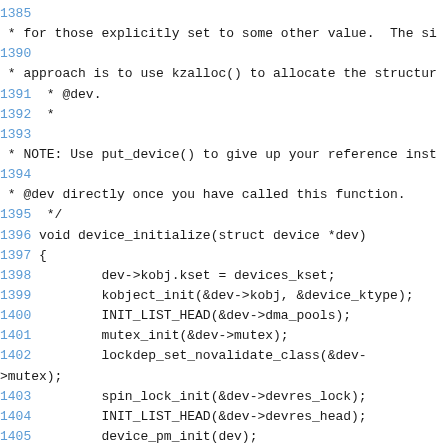Source code listing, lines 1385-1408, showing device_initialize() function implementation in C
[Figure (screenshot): C source code with line numbers showing device_initialize function. Line numbers in blue, code in dark monospace font on white background.]